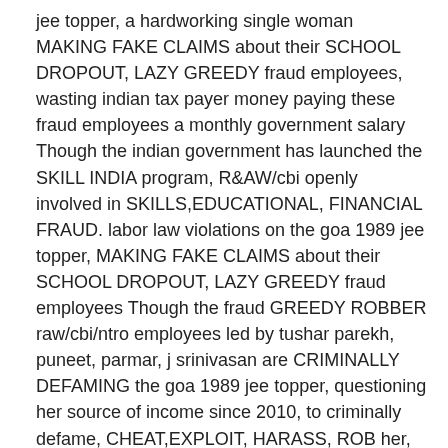jee topper, a hardworking single woman MAKING FAKE CLAIMS about their SCHOOL DROPOUT, LAZY GREEDY fraud employees, wasting indian tax payer money paying these fraud employees a monthly government salary Though the indian government has launched the SKILL INDIA program, R&AW/cbi openly involved in SKILLS,EDUCATIONAL, FINANCIAL FRAUD. labor law violations on the goa 1989 jee topper, MAKING FAKE CLAIMS about their SCHOOL DROPOUT, LAZY GREEDY fraud employees Though the fraud GREEDY ROBBER raw/cbi/ntro employees led by tushar parekh, puneet, parmar, j srinivasan are CRIMINALLY DEFAMING the goa 1989 jee topper, questioning her source of income since 2010, to criminally defame, CHEAT,EXPLOIT, HARASS, ROB her, the reality is that she has savings and is making money,